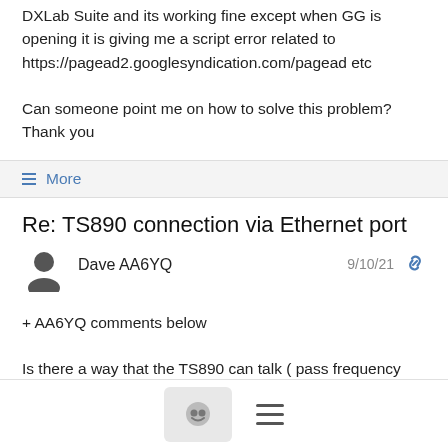DXLab Suite and its working fine except when GG is opening it is giving me a script error related to https://pagead2.googlesyndication.com/pagead etc
Can someone point me on how to solve this problem?
Thank you
≡ More
Re: TS890 connection via Ethernet port
Dave AA6YQ
9/10/21
+ AA6YQ comments below
Is there a way that the TS890 can talk ( pass frequency data and do rig control?) to DXLab/Commander via its Ethernet port rather than a COM port?